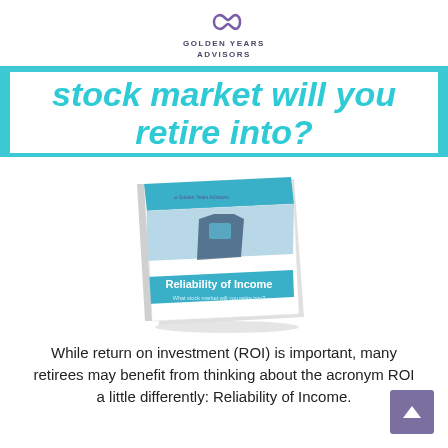Golden Years Advisors
stock market will you retire into?
[Figure (illustration): Book cover titled 'Reliability of Income – What stock market will you retire into?' showing a person in a suit holding a tablet, with a blue and white design.]
While return on investment (ROI) is important, many retirees may benefit from thinking about the acronym ROI a little differently: Reliability of Income.